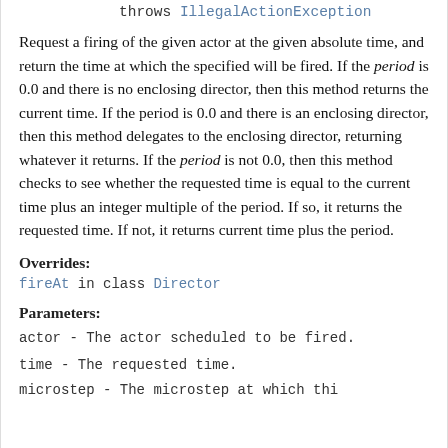int microStep,
    throws IllegalActionException
Request a firing of the given actor at the given absolute time, and return the time at which the specified will be fired. If the period is 0.0 and there is no enclosing director, then this method returns the current time. If the period is 0.0 and there is an enclosing director, then this method delegates to the enclosing director, returning whatever it returns. If the period is not 0.0, then this method checks to see whether the requested time is equal to the current time plus an integer multiple of the period. If so, it returns the requested time. If not, it returns current time plus the period.
Overrides:
fireAt in class Director
Parameters:
actor - The actor scheduled to be fired.
time - The requested time.
microstep - The microstep at which this...